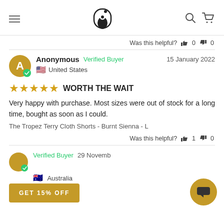Anonymous Verified Buyer 15 January 2022 United States — store nav header with logo
Was this helpful? 👍 0 👎 0
Anonymous  Verified Buyer  15 January 2022  United States
WORTH THE WAIT
Very happy with purchase. Most sizes were out of stock for a long time, bought as soon as I could.
The Tropez Terry Cloth Shorts - Burnt Sienna - L
Was this helpful? 👍 1 👎 0
Verified Buyer  29 Novemb...
GET 15% OFF